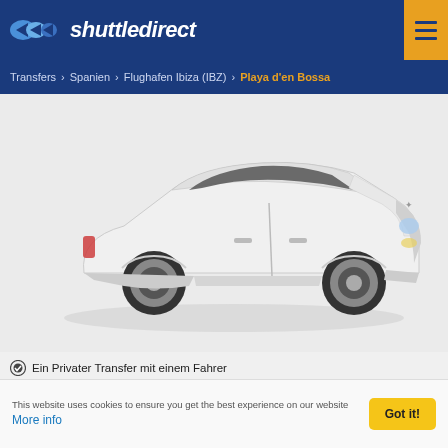shuttledirect
Transfers > Spanien > Flughafen Ibiza (IBZ) > Playa d'en Bossa
[Figure (photo): White Citroën C4 sedan car shown from a 3/4 front angle on a light grey background]
Ein Privater Transfer mit einem Fahrer
Ein Fahrzeug nur für Sie
Ein Service, der Sie direkt zu Ihrer Unterkunft bringt
Der Fahrer trifft Sie persönlich
This website uses cookies to ensure you get the best experience on our website More info
Got it!